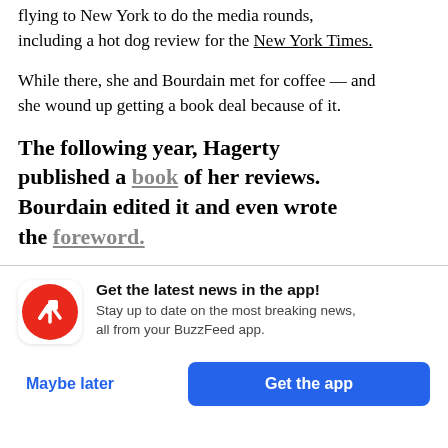flying to New York to do the media rounds, including a hot dog review for the New York Times.
While there, she and Bourdain met for coffee — and she wound up getting a book deal because of it.
The following year, Hagerty published a book of her reviews. Bourdain edited it and even wrote the foreword.
Get the latest news in the app! Stay up to date on the most breaking news, all from your BuzzFeed app.
Maybe later
Get the app